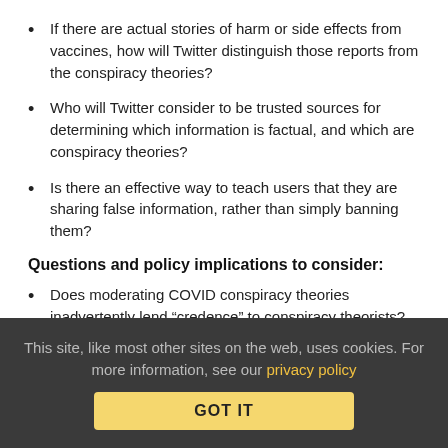If there are actual stories of harm or side effects from vaccines, how will Twitter distinguish those reports from the conspiracy theories?
Who will Twitter consider to be trusted sources for determining which information is factual, and which are conspiracy theories?
Is there an effective way to teach users that they are sharing false information, rather than simply banning them?
Questions and policy implications to consider:
Does moderating COVID conspiracy theories inadvertently lend “credence” to conspiracy theorists?
Does more direct moderation of certain content invite even
This site, like most other sites on the web, uses cookies. For more information, see our privacy policy
GOT IT